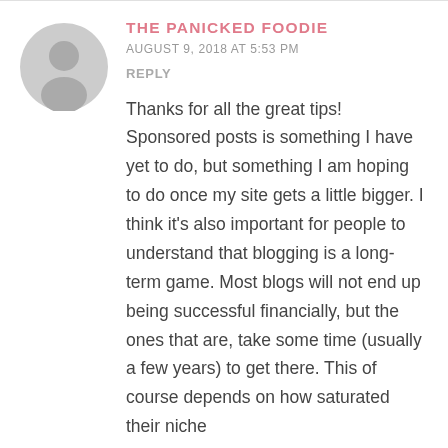THE PANICKED FOODIE
AUGUST 9, 2018 AT 5:53 PM
REPLY
Thanks for all the great tips! Sponsored posts is something I have yet to do, but something I am hoping to do once my site gets a little bigger. I think it's also important for people to understand that blogging is a long-term game. Most blogs will not end up being successful financially, but the ones that are, take some time (usually a few years) to get there. This of course depends on how saturated their niche